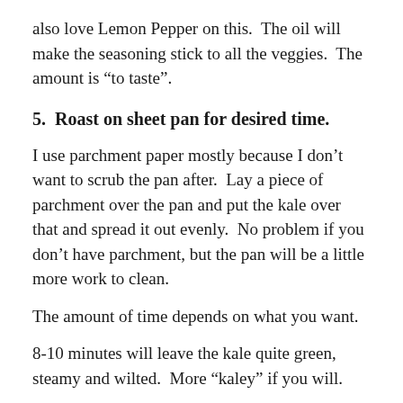also love Lemon Pepper on this.  The oil will make the seasoning stick to all the veggies.  The amount is “to taste”.
5.  Roast on sheet pan for desired time.
I use parchment paper mostly because I don’t want to scrub the pan after.  Lay a piece of parchment over the pan and put the kale over that and spread it out evenly.  No problem if you don’t have parchment, but the pan will be a little more work to clean.
The amount of time depends on what you want.
8-10 minutes will leave the kale quite green, steamy and wilted.  More “kaley” if you will.